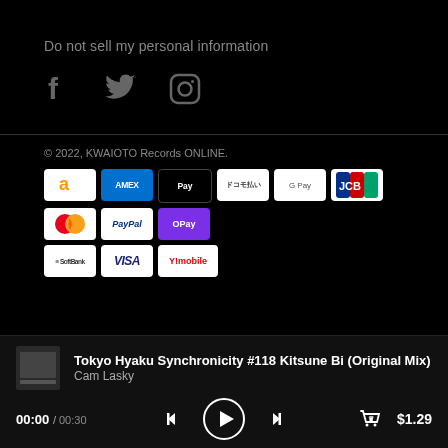Do not sell my personal information
[Figure (other): Social media icons: Facebook, Twitter, Instagram]
© 2022, KWAIOTO Records ONLINE.
[Figure (other): Payment method badges: Amazon, AMEX, Apple Pay, ドコモ払い, Google Pay, JCB, Mastercard, PayPal, O!Pay, SoftBank, VISA, Y!mobile]
Tokyo Hyaku Synchronicity #118 Kitsune Bi (Original Mix)
Cam Lasky
00:00 / 00:30
$1.29